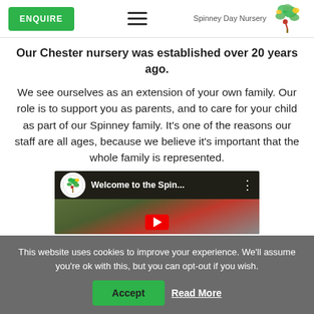ENQUIRE | Spinney Day Nursery
Our Chester nursery was established over 20 years ago.
We see ourselves as an extension of your own family. Our role is to support you as parents, and to care for your child as part of our Spinney family. It’s one of the reasons our staff are all ages, because we believe it’s important that the whole family is represented.
[Figure (screenshot): YouTube video thumbnail showing Spinney Day Nursery logo and title 'Welcome to the Spin...' with a play button overlay on a green/red background]
This website uses cookies to improve your experience. We’ll assume you’re ok with this, but you can opt-out if you wish.